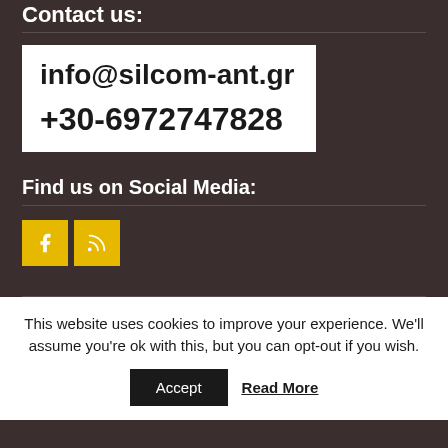Contact us:
info@silcom-ant.gr
+30-6972747828
Find us on Social Media:
[Figure (other): Social media icons: Facebook (f) and RSS feed icons in yellow square boxes]
This website uses cookies to improve your experience. We'll assume you're ok with this, but you can opt-out if you wish.
Accept   Read More